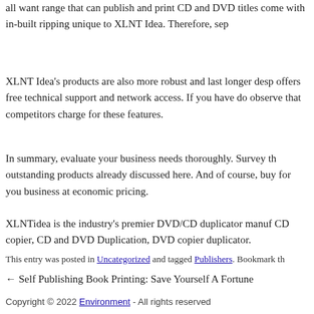all want range that can publish and print CD and DVD titles come with in-built ripping unique to XLNT Idea. Therefore, sep
XLNT Idea’s products are also more robust and last longer desp offers free technical support and network access. If you have do observe that competitors charge for these features.
In summary, evaluate your business needs thoroughly. Survey th outstanding products already discussed here. And of course, buy for you business at economic pricing.
XLNTidea is the industry’s premier DVD/CD duplicator manuf CD copier, CD and DVD Duplication, DVD copier duplicator.
This entry was posted in Uncategorized and tagged Publishers. Bookmark th
← Self Publishing Book Printing: Save Yourself A Fortune
Copyright © 2022 Environment - All rights reserved